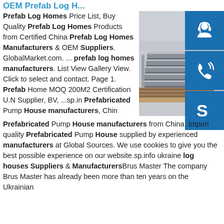OEM Prefab Log H...
Prefab Log Homes Price List, Buy Quality Prefab Log Homes Products from Certified China Prefab Log Homes Manufacturers & OEM Suppliers. GlobalMarket.com. ... prefab log homes manufacturers. List View Gallery View. Click to select and contact. Page 1. Prefab Home MOQ 200M2 Certification U.N Supplier, BV, ...sp.in Prefabricated Pump House manufacturers, China Prefabricated Pump House manufacturers from China. Import quality Prefabricated Pump House supplied by experienced manufacturers at Global Sources. We use cookies to give you the best possible experience on our website.sp.info ukraine log houses Suppliers & ManufacturersBrus Master The company Brus Master has already been more than ten years on the Ukrainian
[Figure (photo): Stack of steel C-channel profiles seen from the side, grey metallic industrial material]
[Figure (illustration): Blue square icon with white headset/customer support symbol]
[Figure (illustration): Blue square icon with white phone/call symbol]
[Figure (illustration): Blue square icon with white Skype logo symbol]